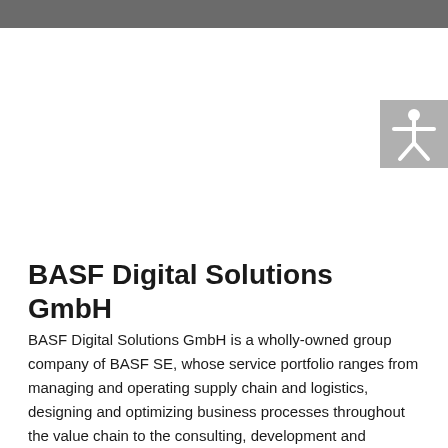[Figure (other): Accessibility icon showing a human figure with arms extended on a grey square background]
BASF Digital Solutions GmbH
BASF Digital Solutions GmbH is a wholly-owned group company of BASF SE, whose service portfolio ranges from managing and operating supply chain and logistics, designing and optimizing business processes throughout the value chain to the consulting, development and operation of IT systems.